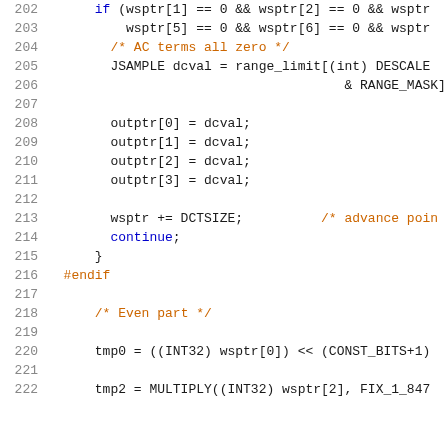[Figure (screenshot): Source code listing showing lines 202-222 of a C program implementing IDCT (Inverse Discrete Cosine Transform). Code includes conditional checks, variable assignments, and arithmetic operations with syntax highlighting in a monospace font on white background.]